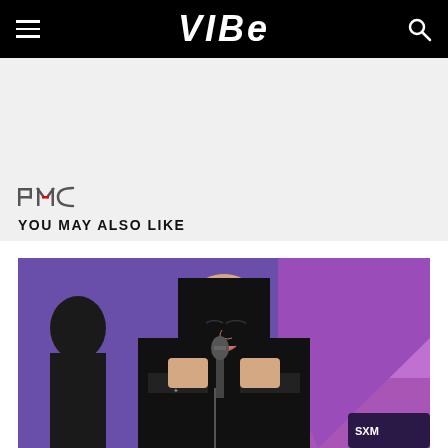VIBE
[Figure (photo): VIBE website screenshot showing header navigation with hamburger menu, VIBE logo, and search icon on black background, followed by a gray advertisement area, PMC logo, YOU MAY ALSO LIKE section header, and a photo of a female singer performing at a microphone wearing black lace clothing at what appears to be SiriusXM event with purple lighting]
YOU MAY ALSO LIKE